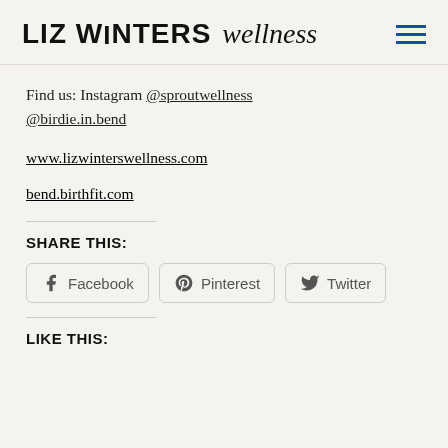LIZ WINTERS wellness
Find us: Instagram @sproutwellness @birdie.in.bend
www.lizwinterswellness.com
bend.birthfit.com
SHARE THIS:
Facebook  Pinterest  Twitter
LIKE THIS: